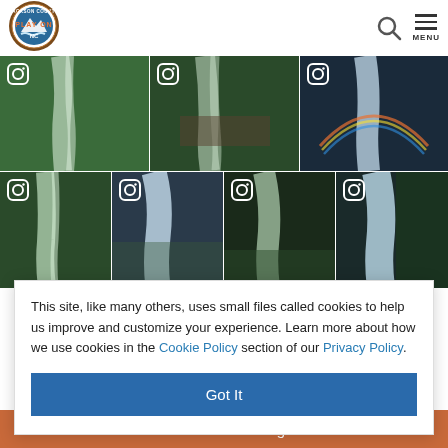[Figure (logo): Jackson County Play On NC circular logo with mountain and water imagery]
[Figure (photo): Grid of 7 Instagram waterfall photos from Jackson County NC, each with Instagram icon overlay]
This site, like many others, uses small files called cookies to help us improve and customize your experience. Learn more about how we use cookies in the Cookie Policy section of our Privacy Policy.
Got It
access our waterfalls carefully.
Get our FREE visitor guide!